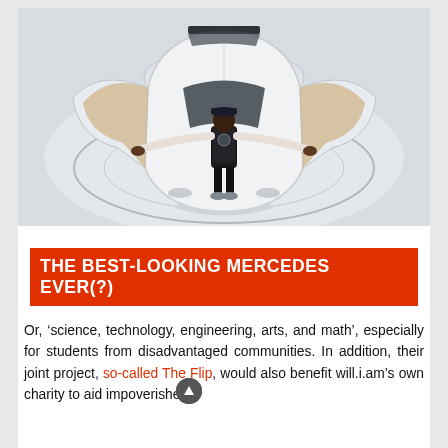[Figure (photo): Aerial/overhead view of a white Mercedes sports car with doors open wide, a man in a black vest and cap standing in front of it with arms outstretched, on a circular platform in a studio setting.]
THE BEST-LOOKING MERCEDES EVER(?)
Or, ‘science, technology, engineering, arts, and math’, especially for students from disadvantaged communities. In addition, their joint project, so-called The Flip, would also benefit will.i.am’s own charity to aid impoverished